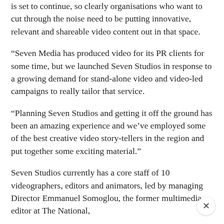is set to continue, so clearly organisations who want to cut through the noise need to be putting innovative, relevant and shareable video content out in that space.
“Seven Media has produced video for its PR clients for some time, but we launched Seven Studios in response to a growing demand for stand-alone video and video-led campaigns to really tailor that service.
“Planning Seven Studios and getting it off the ground has been an amazing experience and we’ve employed some of the best creative video story-tellers in the region and put together some exciting material.”
Seven Studios currently has a core staff of 10 videographers, editors and animators, led by managing Director Emmanuel Somoglou, the former multimedia editor at The National,